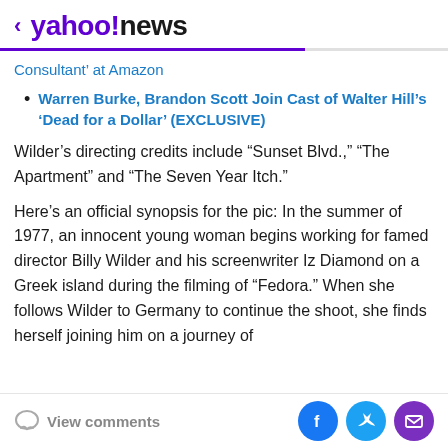< yahoo!news
Consultant' at Amazon
Warren Burke, Brandon Scott Join Cast of Walter Hill's 'Dead for a Dollar' (EXCLUSIVE)
Wilder's directing credits include “Sunset Blvd.,” “The Apartment” and “The Seven Year Itch.”
Here’s an official synopsis for the pic: In the summer of 1977, an innocent young woman begins working for famed director Billy Wilder and his screenwriter Iz Diamond on a Greek island during the filming of “Fedora.” When she follows Wilder to Germany to continue the shoot, she finds herself joining him on a journey of
View comments